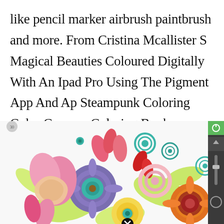like pencil marker airbrush paintbrush and more. From Cristina Mcallister S Magical Beauties Coloured Digitally With An Ipad Pro Using The Pigment App And Ap Steampunk Coloring Color Crayons Coloring Books.
[Figure (illustration): A colorful digital illustration of mandala-style floral patterns with swirls, petals in pink, teal, yellow, red, orange, purple and green, overlaid with app UI elements including a sidebar with green button and a circle icon on the left.]